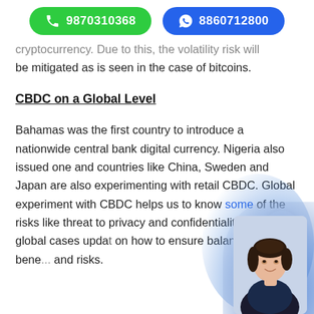9870310368  8860712800
cryptocurrency. Due to this, the volatility risk will be mitigated as is seen in the case of bitcoins.
CBDC on a Global Level
Bahamas was the first country to introduce a nationwide central bank digital currency. Nigeria also issued one and countries like China, Sweden and Japan are also experimenting with retail CBDC. Global experiment with CBDC helps us to know some of the risks like threat to privacy and confidentiality. Hence global cases updat on how to ensure balance between bene... and risks.